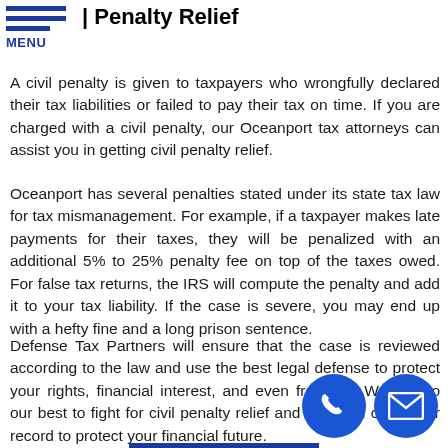MENU
| Penalty Relief
A civil penalty is given to taxpayers who wrongfully declared their tax liabilities or failed to pay their tax on time. If you are charged with a civil penalty, our Oceanport tax attorneys can assist you in getting civil penalty relief.
Oceanport has several penalties stated under its state tax law for tax mismanagement. For example, if a taxpayer makes late payments for their taxes, they will be penalized with an additional 5% to 25% penalty fee on top of the taxes owed. For false tax returns, the IRS will compute the penalty and add it to your tax liability. If the case is severe, you may end up with a hefty fine and a long prison sentence.
Defense Tax Partners will ensure that the case is reviewed according to the law and use the best legal defense to protect your rights, financial interest, and even freedom. We will do our best to fight for civil penalty relief and help you clear your record to protect your financial future.